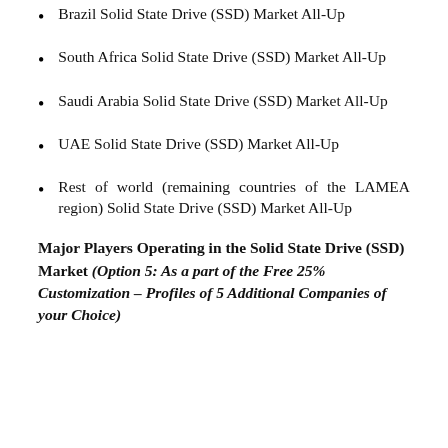Brazil Solid State Drive (SSD) Market All-Up
South Africa Solid State Drive (SSD) Market All-Up
Saudi Arabia Solid State Drive (SSD) Market All-Up
UAE Solid State Drive (SSD) Market All-Up
Rest of world (remaining countries of the LAMEA region) Solid State Drive (SSD) Market All-Up
Major Players Operating in the Solid State Drive (SSD) Market (Option 5: As a part of the Free 25% Customization – Profiles of 5 Additional Companies of your Choice)